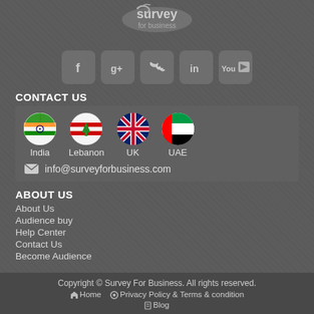[Figure (logo): Survey for Business logo in grey/white at top center]
[Figure (infographic): Social media icons row: Facebook, Google+, Twitter, LinkedIn, YouTube - rounded square grey buttons]
CONTACT US
[Figure (infographic): Contact box with country flags (India, Lebanon, UK, UAE) and email info@surveyforbusiness.com]
ABOUT US
About Us
Audience buy
Help Center
Contact Us
Become Audience
Copyright © Survey For Business. All rights reserved.
🏠 Home  ⚙ Privacy Policy & Terms & condition
✏ Blog